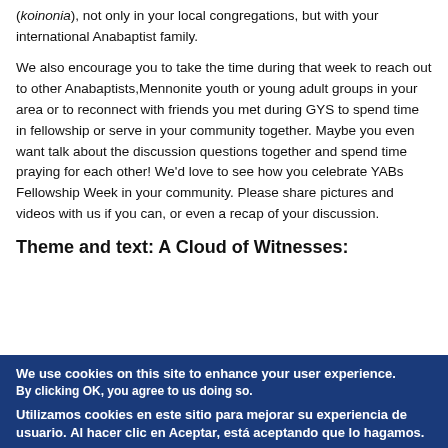(koinonia), not only in your local congregations, but with your international Anabaptist family.
We also encourage you to take the time during that week to reach out to other Anabaptists,Mennonite youth or young adult groups in your area or to reconnect with friends you met during GYS to spend time in fellowship or serve in your community together. Maybe you even want talk about the discussion questions together and spend time praying for each other! We'd love to see how you celebrate YABs Fellowship Week in your community. Please share pictures and videos with us if you can, or even a recap of your discussion.
Theme and text: A Cloud of Witnesses:
We use cookies on this site to enhance your user experience. By clicking OK, you agree to us doing so. Utilizamos cookies en este sitio para mejorar su experiencia de usuario. Al hacer clic en Aceptar, está aceptando que lo hagamos.